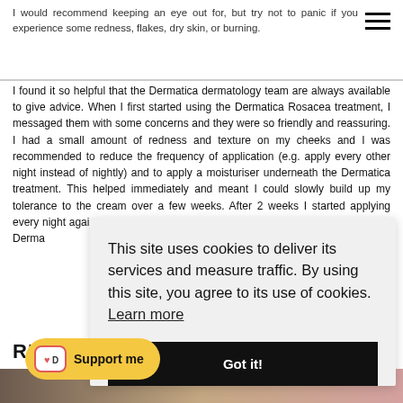I would recommend keeping an eye out for, but try not to panic if you experience some redness, flakes, dry skin, or burning.
I found it so helpful that the Dermatica dermatology team are always available to give advice. When I first started using the Dermatica Rosacea treatment, I messaged them with some concerns and they were so friendly and reassuring. I had a small amount of redness and texture on my cheeks and I was recommended to reduce the frequency of application (e.g. apply every other night instead of nightly) and to apply a moisturiser underneath the Dermatica treatment. This helped immediately and meant I could slowly build up my tolerance to the cream over a few weeks. After 2 weeks I started applying every night again, then 1 week later (when I had no issues) I removed the pre-Derma
RESU
[Figure (photo): Before and after photos of a person showing rosacea treatment results]
This site uses cookies to deliver its services and measure traffic. By using this site, you agree to its use of cookies. Learn more
Got it!